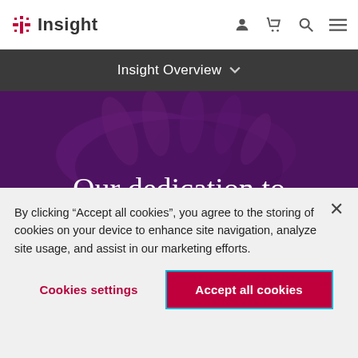Insight (logo) | navigation icons: user, cart, search, menu
Insight Overview ˅
[Figure (photo): Purple-tinted photo of hands overlapping, with text overlay reading 'Our dedication to building...' (heading partially visible)]
By clicking “Accept all cookies”, you agree to the storing of cookies on your device to enhance site navigation, analyze site usage, and assist in our marketing efforts.
Cookies settings
Accept all cookies